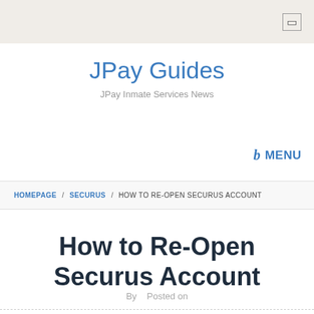JPay Guides — JPay Inmate Services News
JPay Guides
JPay Inmate Services News
b  MENU
HOMEPAGE / SECURUS / HOW TO RE-OPEN SECURUS ACCOUNT
How to Re-Open Securus Account
By  Posted on